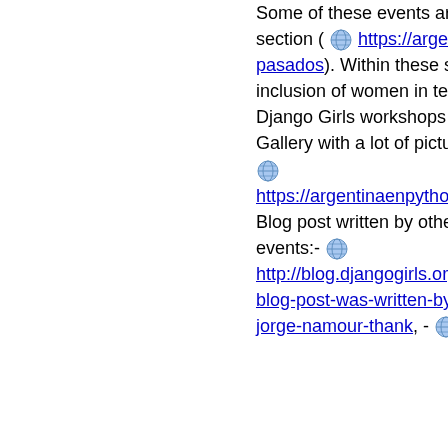Some of these events are registered in the "Past Events" section ( [globe icon] https://argentinaenpython.com/e/pasados). Within these spaces it has taken into account the inclusion of women in technology, organizing more than 15 Django Girls workshops throughout all Latin America. Gallery with a lot of pictures from most of all his events: - [globe icon] https://argentinaenpython.com/g Blog post written by others about his latest participation in events:- [globe icon] http://blog.djangogirls.org/post/1 blog-post-was-written-by-jorge-namour-thank, - [globe icon]